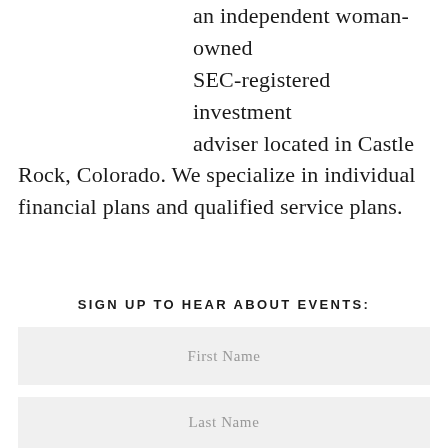an independent woman-owned SEC-registered investment adviser located in Castle Rock, Colorado. We specialize in individual financial plans and qualified service plans.
SIGN UP TO HEAR ABOUT EVENTS:
First Name
Last Name